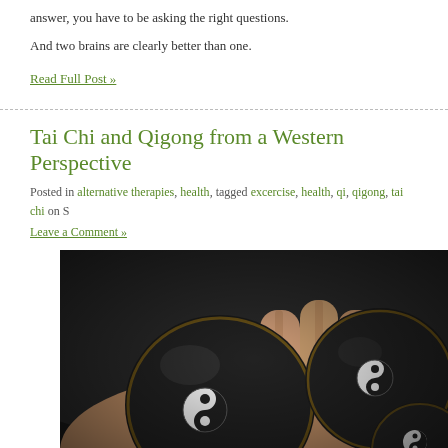answer, you have to be asking the right questions.
And two brains are clearly better than one.
Read Full Post »
Tai Chi and Qigong from a Western Perspective
Posted in alternative therapies, health, tagged excercise, health, qi, qigong, tai chi on S
Leave a Comment »
[Figure (photo): Close-up photo of black yin-yang balls held in a hand, showing yin-yang symbols on the dark spheres]